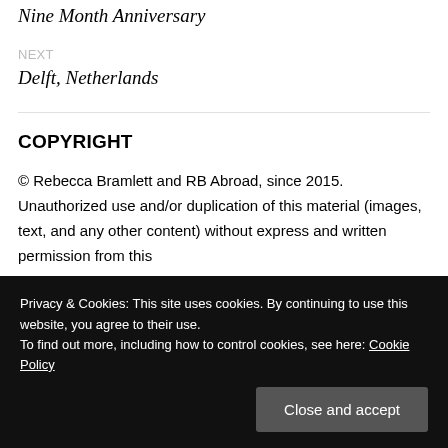Nine Month Anniversary
NEXT
Delft, Netherlands
COPYRIGHT
© Rebecca Bramlett and RB Abroad, since 2015. Unauthorized use and/or duplication of this material (images, text, and any other content) without express and written permission from this
Privacy & Cookies: This site uses cookies. By continuing to use this website, you agree to their use.
To find out more, including how to control cookies, see here: Cookie Policy
Close and accept